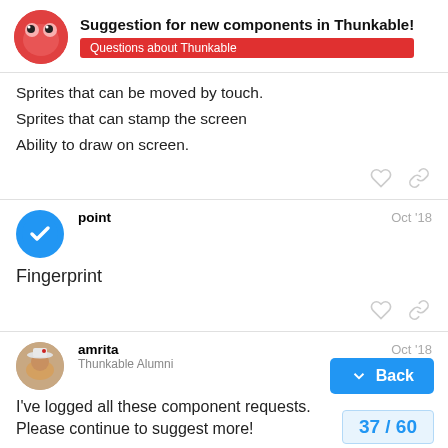Suggestion for new components in Thunkable! | Questions about Thunkable
Sprites that can be moved by touch.
Sprites that can stamp the screen
Ability to draw on screen.
point — Oct '18
Fingerprint
amrita — Thunkable Alumni — Oct '18
I've logged all these component requests.
Please continue to suggest more!